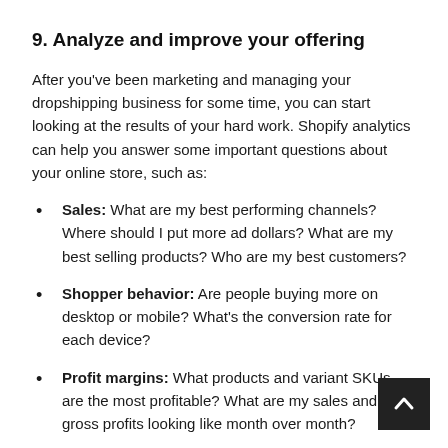9. Analyze and improve your offering
After you've been marketing and managing your dropshipping business for some time, you can start looking at the results of your hard work. Shopify analytics can help you answer some important questions about your online store, such as:
Sales: What are my best performing channels? Where should I put more ad dollars? What are my best selling products? Who are my best customers?
Shopper behavior: Are people buying more on desktop or mobile? What's the conversion rate for each device?
Profit margins: What products and variant SKUs are the most profitable? What are my sales and gross profits looking like month over month?